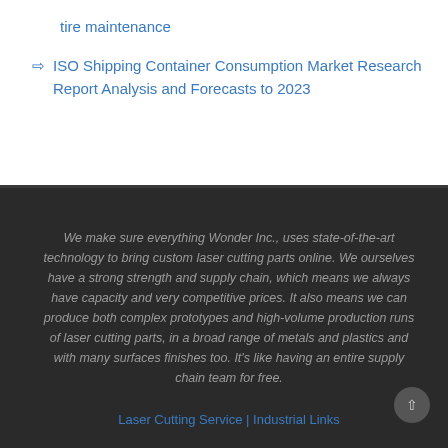tire maintenance
ISO Shipping Container Consumption Market Research Report Analysis and Forecasts to 2023
We make sure everything Wonder Inc., uses state-of-the-art technology to bring custom laser cutting parts online. We ourselves have a strong strength and supply chain, which means we always have capacity and very competitive prices. It also means we can produce both complex prototypes and high-volume production runs of laser cutting parts, in a broad range of metals and plastics and with many surfaces finishes too. It's like having an entire supply chain team for free.
Laser Cutting Service | Industrial Links